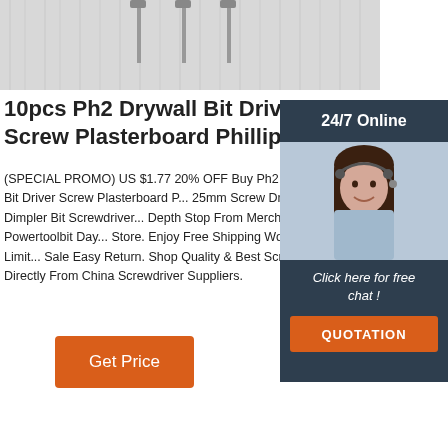[Figure (photo): Product photo of drywall screwdriver bits on wood-grain background, partially shown at top]
10pcs Ph2 Drywall Bit Driver Screw Plasterboard Phillip...
(SPECIAL PROMO) US $1.77 20% OFF Buy 10pcs Ph2 Drywall Bit Driver Screw Plasterboard P... 25mm Screw Driver Dimpler Bit Screwdriver... Depth Stop From Merchant Powertoolbit Day... Store. Enjoy Free Shipping Worldwide! Limit... Sale Easy Return. Shop Quality & Best Scre... Directly From China Screwdriver Suppliers.
[Figure (photo): Customer service chat widget showing a woman with headset, 24/7 Online label, Click here for free chat text, and QUOTATION button]
Get Price